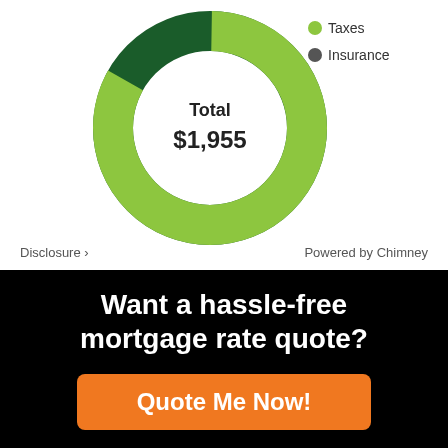[Figure (donut-chart): Total $1,955]
Disclosure > Powered by Chimney
Want a hassle-free mortgage rate quote?
Quote Me Now!